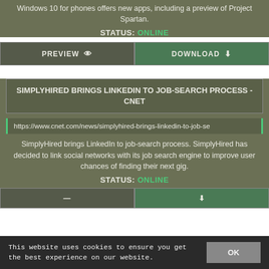Windows 10 for phones offers new apps, including a preview of Project Spartan.
STATUS: ONLINE
PREVIEW   DOWNLOAD
SIMPLYHIRED BRINGS LINKEDIN TO JOB-SEARCH PROCESS - CNET
https://www.cnet.com/news/simplyhired-brings-linkedin-to-job-se
SimplyHired brings LinkedIn to job-search process. SimplyHired has decided to link social networks with its job search engine to improve user chances of finding their next gig.
STATUS: ONLINE
PREVIEW   DOWNLOAD
This website uses cookies to ensure you get the best experience on our website.